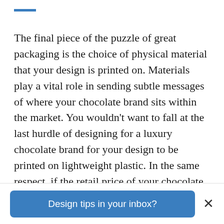The final piece of the puzzle of great packaging is the choice of physical material that your design is printed on. Materials play a vital role in sending subtle messages of where your chocolate brand sits within the market. You wouldn't want to fall at the last hurdle of designing for a luxury chocolate brand for your design to be printed on lightweight plastic. In the same respect, if the retail price of your chocolate is on the cheaper
Design tips in your inbox?